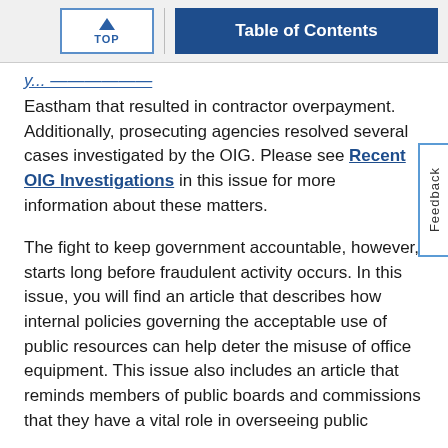TOP | Table of Contents
Eastham that resulted in contractor overpayment. Additionally, prosecuting agencies resolved several cases investigated by the OIG. Please see Recent OIG Investigations in this issue for more information about these matters.
The fight to keep government accountable, however, starts long before fraudulent activity occurs. In this issue, you will find an article that describes how internal policies governing the acceptable use of public resources can help deter the misuse of office equipment. This issue also includes an article that reminds members of public boards and commissions that they have a vital role in overseeing public